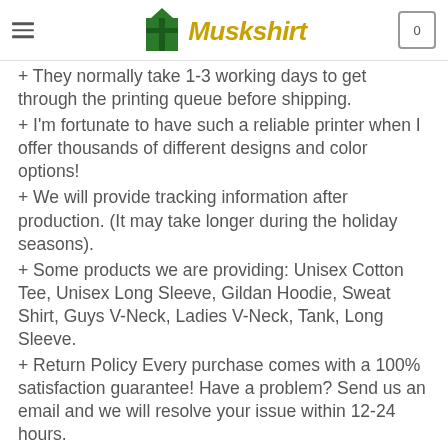Muskshirt
+ They normally take 1-3 working days to get through the printing queue before shipping.
+ I'm fortunate to have such a reliable printer when I offer thousands of different designs and color options!
+ We will provide tracking information after production. (It may take longer during the holiday seasons).
+ Some products we are providing: Unisex Cotton Tee, Unisex Long Sleeve, Gildan Hoodie, Sweat Shirt, Guys V-Neck, Ladies V-Neck, Tank, Long Sleeve.
+ Return Policy Every purchase comes with a 100% satisfaction guarantee! Have a problem? Send us an email and we will resolve your issue within 12-24 hours.
Shipping information:
Production time: 2-4 business days
Shipping time: 8-12 business days